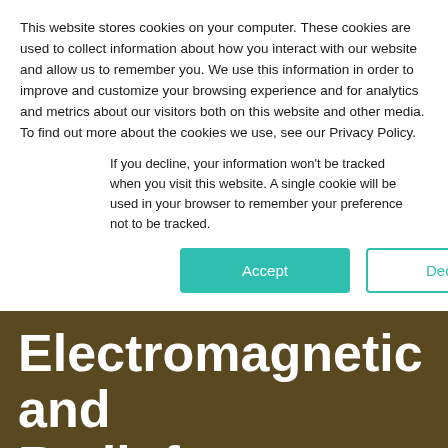This website stores cookies on your computer. These cookies are used to collect information about how you interact with our website and allow us to remember you. We use this information in order to improve and customize your browsing experience and for analytics and metrics about our visitors both on this website and other media. To find out more about the cookies we use, see our Privacy Policy.
If you decline, your information won't be tracked when you visit this website. A single cookie will be used in your browser to remember your preference not to be tracked.
Accept | Decline
Electromagnetic and Radiofrequency Interference